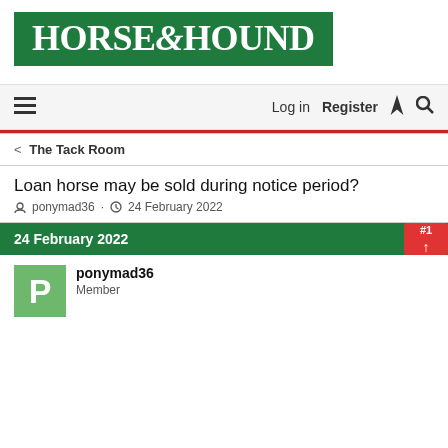[Figure (logo): Horse & Hound logo — white serif text on dark green background]
Log in  Register
< The Tack Room
Loan horse may be sold during notice period?
ponymad36 · 24 February 2022
24 February 2022  #1
ponymad36
Member